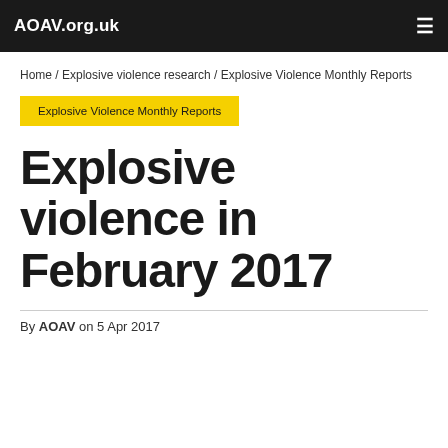AOAV.org.uk
Home / Explosive violence research / Explosive Violence Monthly Reports
Explosive Violence Monthly Reports
Explosive violence in February 2017
By AOAV on 5 Apr 2017